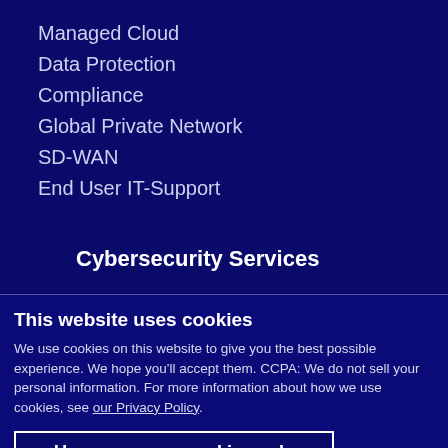Managed Cloud
Data Protection
Compliance
Global Private Network
SD-WAN
End User IT-Support
Cybersecurity Services
This website uses cookies
We use cookies on this website to give you the best possible experience. We hope you'll accept them. CCPA: We do not sell your personal information. For more information about how we use cookies, see our Privacy Policy.
Use necessary cookies only
Allow all cookies
Show details